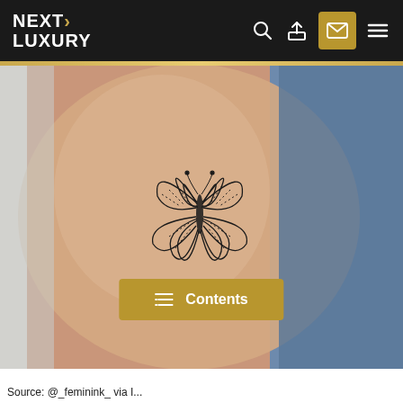NEXT LUXURY
[Figure (photo): Close-up photo of a forearm with a fine-line butterfly tattoo. The butterfly is drawn with petal-like wings using dotted and outline linework, placed on the inner forearm. Denim jeans are visible in the background.]
[Figure (other): Contents button overlay with gold background]
Source: @_feminink_ via I...